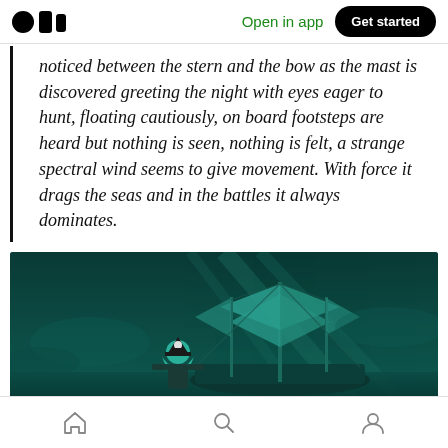Medium app header with logo, 'Open in app' link, and 'Get started' button
noticed between the stern and the bow as the mast is discovered greeting the night with eyes eager to hunt, floating cautiously, on board footsteps are heard but nothing is seen, nothing is felt, a strange spectral wind seems to give movement. With force it drags the seas and in the battles it always dominates.
[Figure (illustration): Dark teal/green atmospheric illustration of a pirate ship with full sails and a pirate character in the foreground, misty background]
Bottom navigation bar with home, search, and profile icons